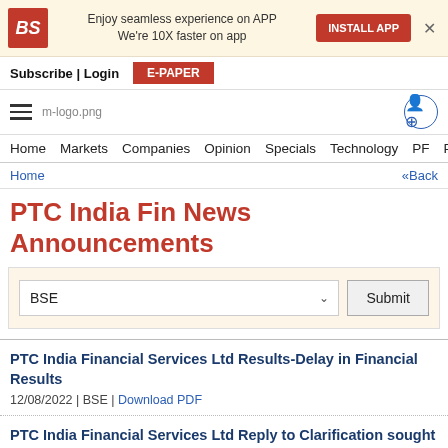[Figure (screenshot): Business Standard app install banner with red BS logo, text 'Enjoy seamless experience on APP We're 10X faster on app', red INSTALL APP button, and X close button]
Subscribe | Login   E-PAPER
[Figure (logo): Navigation bar with hamburger menu, m-logo.png placeholder, and user icon]
Home  Markets  Companies  Opinion  Specials  Technology  PF  P
Home  «Back
PTC India Fin News Announcements
BSE  Submit
PTC India Financial Services Ltd Results-Delay in Financial Results
12/08/2022 | BSE | Download PDF
PTC India Financial Services Ltd Reply to Clarification sought from PTC India Financial Services Ltd
08/08/2022 | BSE | Download PDF
PTC India Financial Services Ltd Corpo...